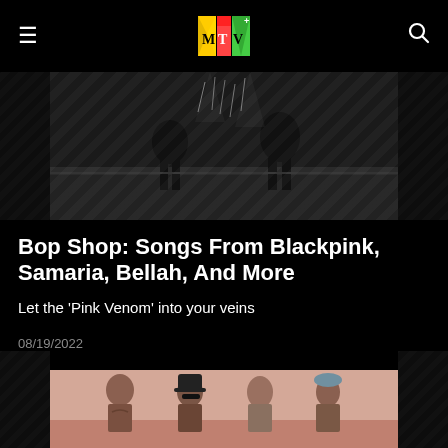MTV
[Figure (photo): Dark concert/performance stage photo showing performers with dramatic lighting and water/sparks effect]
Bop Shop: Songs From Blackpink, Samaria, Bellah, And More
Let the 'Pink Venom' into your veins
08/19/2022
[Figure (photo): Photo of four band members (Red Hot Chili Peppers) posing together against a pink/rosy background; one member wears a black top hat and sunglasses]